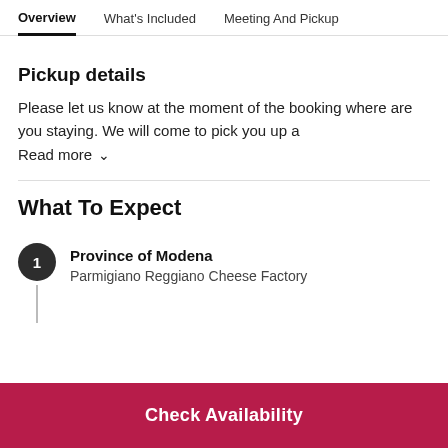Overview | What's Included | Meeting And Pickup
Pickup details
Please let us know at the moment of the booking where are you staying. We will come to pick you up a
Read more
What To Expect
1 Province of Modena — Parmigiano Reggiano Cheese Factory
Check Availability